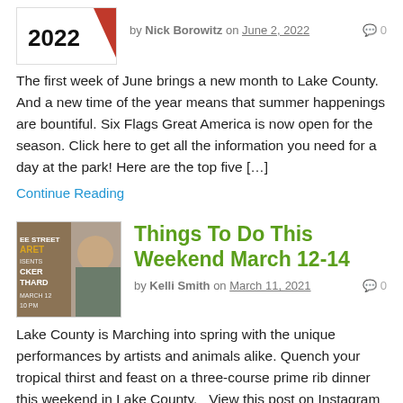[Figure (photo): Thumbnail image showing '2022' text with a red geometric shape]
by Nick Borowitz on June 2, 2022   💬 0
The first week of June brings a new month to Lake County. And a new time of the year means that summer happenings are bountiful. Six Flags Great America is now open for the season. Click here to get all the information you need for a day at the park! Here are the top five […]
Continue Reading
[Figure (photo): Thumbnail image of a theater/cabaret event poster with a man in a cap, text includes 'EE STREET', 'ARET', 'ISENTS', 'CKER', 'THARD', 'MARCH 12', '10 PM']
Things To Do This Weekend March 12-14
by Kelli Smith on March 11, 2021   💬 0
Lake County is Marching into spring with the unique performances by artists and animals alike. Quench your tropical thirst and feast on a three-course prime rib dinner this weekend in Lake County.   View this post on Instagram   A post